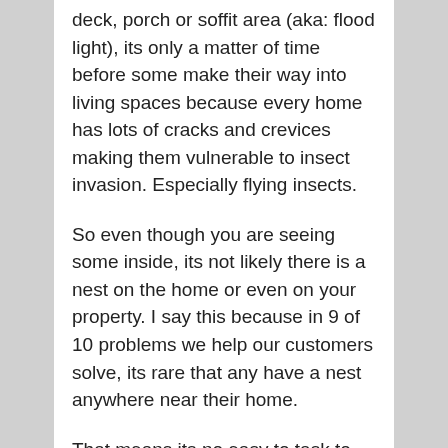deck, porch or soffit area (aka: flood light), its only a matter of time before some make their way into living spaces because every home has lots of cracks and crevices making them vulnerable to insect invasion. Especially flying insects.
So even though you are seeing some inside, its not likely there is a nest on the home or even on your property. I say this because in 9 of 10 problems we help our customers solve, its rare that any have a nest anywhere near their home.
That means its no easy to task to find the nest unless you can scour the surrounding acreage (whether you're a pest control service employee or homeowner). And if you're content on finding it, you'll need to cover at least 10 acres so be prepared to